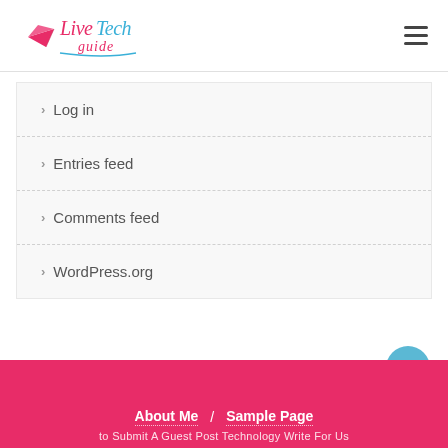LiveTech guide
> Log in
> Entries feed
> Comments feed
> WordPress.org
About Me / Sample Page